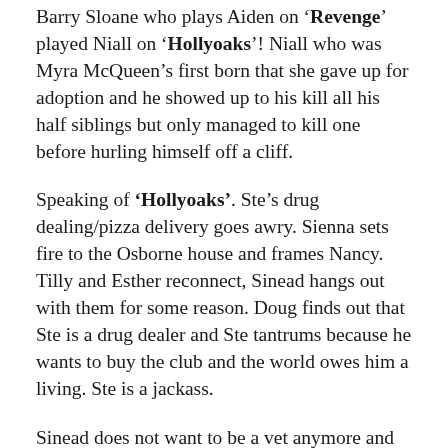Barry Sloane who plays Aiden on 'Revenge' played Niall on 'Hollyoaks'! Niall who was Myra McQueen's first born that she gave up for adoption and he showed up to his kill all his half siblings but only managed to kill one before hurling himself off a cliff.
Speaking of 'Hollyoaks'. Ste's drug dealing/pizza delivery goes awry. Sienna sets fire to the Osborne house and frames Nancy. Tilly and Esther reconnect, Sinead hangs out with them for some reason. Doug finds out that Ste is a drug dealer and Ste tantrums because he wants to buy the club and the world owes him a living. Ste is a jackass.
Sinead does not want to be a vet anymore and Ste talks her into drug dealing for him as they share a can of cider. Darren orders Nancy out of their house and she does the